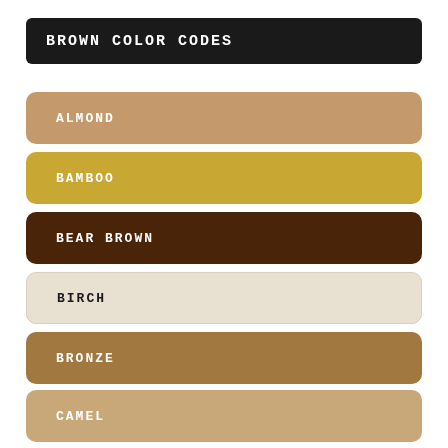BROWN COLOR CODES
ALMOND
BAMBOO
BEAR BROWN
BIRCH
BRONZE
CAMEL